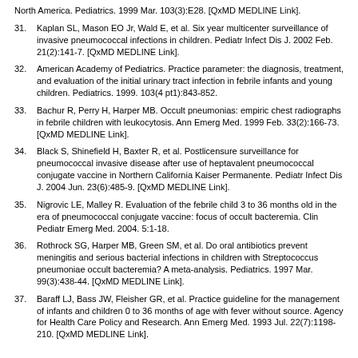North America. Pediatrics. 1999 Mar. 103(3):E28. [QxMD MEDLINE Link].
31. Kaplan SL, Mason EO Jr, Wald E, et al. Six year multicenter surveillance of invasive pneumococcal infections in children. Pediatr Infect Dis J. 2002 Feb. 21(2):141-7. [QxMD MEDLINE Link].
32. American Academy of Pediatrics. Practice parameter: the diagnosis, treatment, and evaluation of the initial urinary tract infection in febrile infants and young children. Pediatrics. 1999. 103(4 pt1):843-852.
33. Bachur R, Perry H, Harper MB. Occult pneumonias: empiric chest radiographs in febrile children with leukocytosis. Ann Emerg Med. 1999 Feb. 33(2):166-73. [QxMD MEDLINE Link].
34. Black S, Shinefield H, Baxter R, et al. Postlicensure surveillance for pneumococcal invasive disease after use of heptavalent pneumococcal conjugate vaccine in Northern California Kaiser Permanente. Pediatr Infect Dis J. 2004 Jun. 23(6):485-9. [QxMD MEDLINE Link].
35. Nigrovic LE, Malley R. Evaluation of the febrile child 3 to 36 months old in the era of pneumococcal conjugate vaccine: focus of occult bacteremia. Clin Pediatr Emerg Med. 2004. 5:1-18.
36. Rothrock SG, Harper MB, Green SM, et al. Do oral antibiotics prevent meningitis and serious bacterial infections in children with Streptococcus pneumoniae occult bacteremia? A meta-analysis. Pediatrics. 1997 Mar. 99(3):438-44. [QxMD MEDLINE Link].
37. Baraff LJ, Bass JW, Fleisher GR, et al. Practice guideline for the management of infants and children 0 to 36 months of age with fever without source. Agency for Health Care Policy and Research. Ann Emerg Med. 1993 Jul. 22(7):1198-210. [QxMD MEDLINE Link].